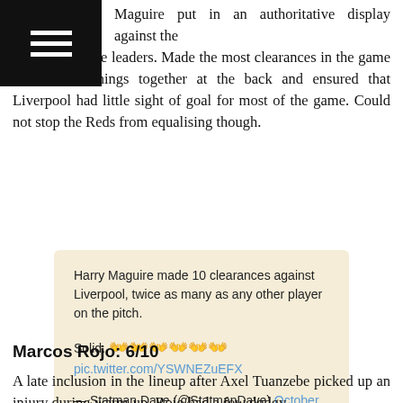menu icon (hamburger)
Maguire put in an authoritative display against the Premier League leaders. Made the most clearances in the game as he held things together at the back and ensured that Liverpool had little sight of goal for most of the game. Could not stop the Reds from equalising though.
Harry Maguire made 10 clearances against Liverpool, twice as many as any other player on the pitch.

Solid. 👐👐👐👐👐 pic.twitter.com/YSWNEZuEFX

— Statman Dave (@StatmanDave) October 20, 2019
Marcos Rojo: 6/10
A late inclusion in the lineup after Axel Tuanzebe picked up an injury during warm-up. Rojo had a few dodgy